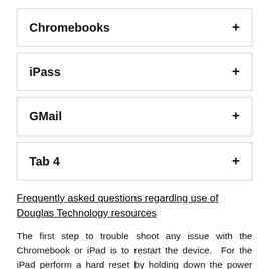Chromebooks +
iPass +
GMail +
Tab 4 +
Frequently asked questions regarding use of Douglas Technology resources
The first step to trouble shoot any issue with the Chromebook or iPad is to restart the device.  For the iPad perform a hard reset by holding down the power button and home button together until the iPad restarts.  For the Chromebook, don't just logout. After logging out, hold down the power key until the Chromebook shuts down. (Or use the shut down button on the lower left of the screen after